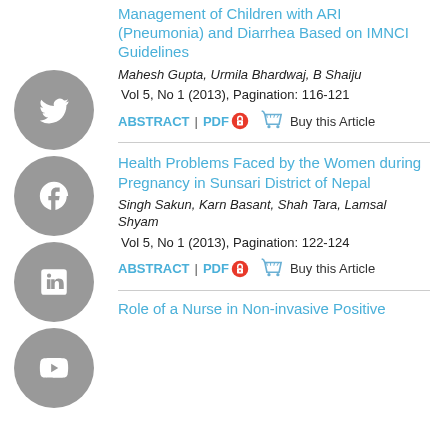Management of Children with ARI (Pneumonia) and Diarrhea Based on IMNCI Guidelines
Mahesh Gupta, Urmila Bhardwaj, B Shaiju
Vol 5, No 1 (2013), Pagination: 116-121
ABSTRACT | PDF 🔒 🛒 Buy this Article
Health Problems Faced by the Women during Pregnancy in Sunsari District of Nepal
Singh Sakun, Karn Basant, Shah Tara, Lamsal Shyam
Vol 5, No 1 (2013), Pagination: 122-124
ABSTRACT | PDF 🔒 🛒 Buy this Article
Role of a Nurse in Non-invasive Positive